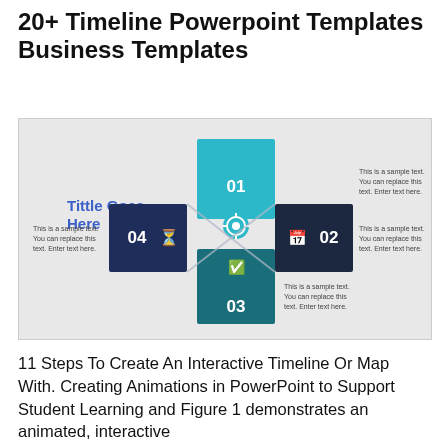20+ Timeline Powerpoint Templates Business Templates
[Figure (infographic): A PowerPoint template slide with a cross/diamond shaped infographic showing 4 numbered sections (01, 02, 03, 04) in shades of teal and dark blue. Title 'Tittle Goes Here' in blue on the left. Each section has an icon and the text 'This is a sample text. You can replace this text. Enter text here.' Background is light grey.]
11 Steps To Create An Interactive Timeline Or Map With. Creating Animations in PowerPoint to Support Student Learning and Figure 1 demonstrates an animated, interactive